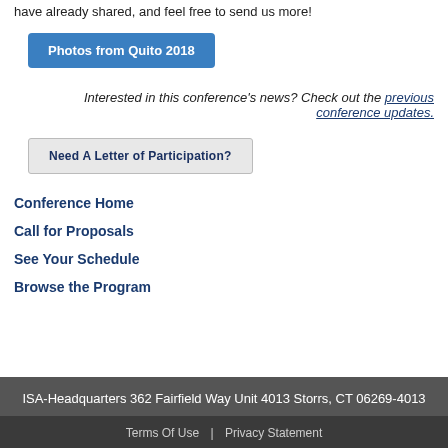have already shared, and feel free to send us more!
Photos from Quito 2018
Interested in this conference's news? Check out the previous conference updates.
Need A Letter of Participation?
Conference Home
Call for Proposals
See Your Schedule
Browse the Program
ISA-Headquarters 362 Fairfield Way Unit 4013 Storrs, CT 06269-4013
Terms Of Use | Privacy Statement